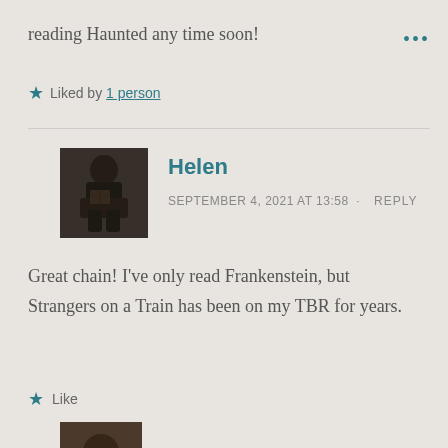reading Haunted any time soon!
Liked by 1 person
Helen
SEPTEMBER 4, 2021 AT 13:58 · REPLY
Great chain! I've only read Frankenstein, but Strangers on a Train has been on my TBR for years.
Like
[Figure (photo): Avatar photo of Helen, a person sitting and reading in a dark setting]
[Figure (photo): Partial avatar photo at bottom of page]